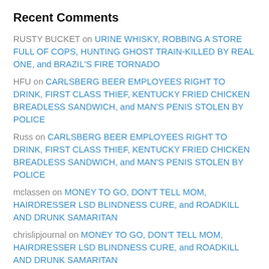Recent Comments
RUSTY BUCKET on URINE WHISKY, ROBBING A STORE FULL OF COPS, HUNTING GHOST TRAIN-KILLED BY REAL ONE, and BRAZIL'S FIRE TORNADO
HFU on CARLSBERG BEER EMPLOYEES RIGHT TO DRINK, FIRST CLASS THIEF, KENTUCKY FRIED CHICKEN BREADLESS SANDWICH, and MAN'S PENIS STOLEN BY POLICE
Russ on CARLSBERG BEER EMPLOYEES RIGHT TO DRINK, FIRST CLASS THIEF, KENTUCKY FRIED CHICKEN BREADLESS SANDWICH, and MAN'S PENIS STOLEN BY POLICE
mclassen on MONEY TO GO, DON'T TELL MOM, HAIRDRESSER LSD BLINDNESS CURE, and ROADKILL AND DRUNK SAMARITAN
chrislipjournal on MONEY TO GO, DON'T TELL MOM, HAIRDRESSER LSD BLINDNESS CURE, and ROADKILL AND DRUNK SAMARITAN
Top Posts
BUBBLE GUM EXPLODES-KILLS CHEWER, BOARS THWARTED BY